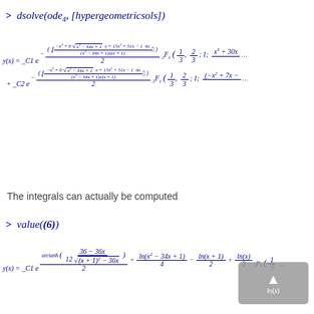The integrals can actually be computed